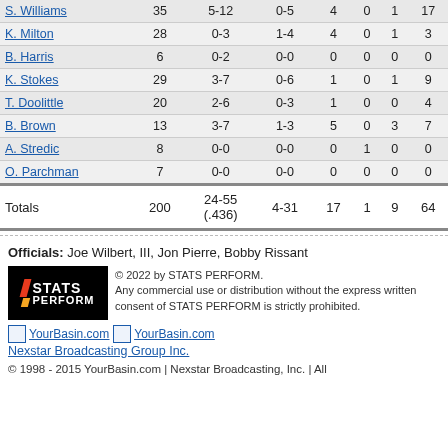| Player | Min | FG | 3PT | Reb | Blk | Ast | Pts |
| --- | --- | --- | --- | --- | --- | --- | --- |
| S. Williams | 35 | 5-12 | 0-5 | 4 | 0 | 1 | 17 |
| K. Milton | 28 | 0-3 | 1-4 | 4 | 0 | 1 | 3 |
| B. Harris | 6 | 0-2 | 0-0 | 0 | 0 | 0 | 0 |
| K. Stokes | 29 | 3-7 | 0-6 | 1 | 0 | 1 | 9 |
| T. Doolittle | 20 | 2-6 | 0-3 | 1 | 0 | 0 | 4 |
| B. Brown | 13 | 3-7 | 1-3 | 5 | 0 | 3 | 7 |
| A. Stredic | 8 | 0-0 | 0-0 | 0 | 1 | 0 | 0 |
| O. Parchman | 7 | 0-0 | 0-0 | 0 | 0 | 0 | 0 |
| Totals | 200 | 24-55 (.436) | 4-31 | 17 | 1 | 9 | 64 |
Officials: Joe Wilbert, III, Jon Pierre, Bobby Rissant
[Figure (logo): STATS PERFORM logo with slash graphic on black background]
© 2022 by STATS PERFORM. Any commercial use or distribution without the express written consent of STATS PERFORM is strictly prohibited.
YourBasin.com YourBasin.com Nexstar Broadcasting Group Inc.
© 1998 - 2015 YourBasin.com | Nexstar Broadcasting, Inc. | All